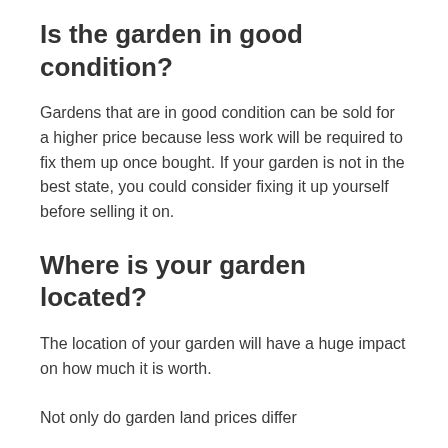Is the garden in good condition?
Gardens that are in good condition can be sold for a higher price because less work will be required to fix them up once bought. If your garden is not in the best state, you could consider fixing it up yourself before selling it on.
Where is your garden located?
The location of your garden will have a huge impact on how much it is worth.
Not only do garden land prices differ